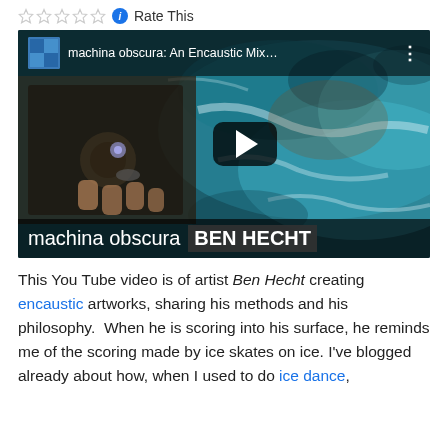[Figure (other): Star rating widget with 5 empty stars, info icon, and 'Rate This' label]
[Figure (screenshot): YouTube video thumbnail for 'machina obscura: An Encaustic Mix...' by Ben Hecht. Shows an encaustic artwork object held in hand on the left, and an abstract teal/ocean painting background on the right with a play button. Bottom bar reads 'machina obscura BEN HECHT'.]
This You Tube video is of artist Ben Hecht creating encaustic artworks, sharing his methods and his philosophy.  When he is scoring into his surface, he reminds me of the scoring made by ice skates on ice. I've blogged already about how, when I used to do ice dance,